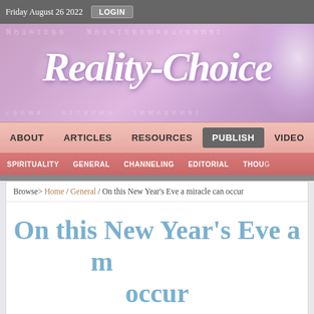Friday August 26 2022  LOGIN
[Figure (logo): Reality-Choice website header banner with purple/pink gradient background and white cursive logo text reading 'Reality-Choice']
ABOUT  ARTICLES  RESOURCES  PUBLISH  VIDEO
SPIRITUALITY  GENERAL  CHANNELING  EDITORIAL  THOUGH
Browse> Home / General / On this New Year's Eve a miracle can occur
On this New Year's Eve a miracle can occur
By Surfer | General  Listen